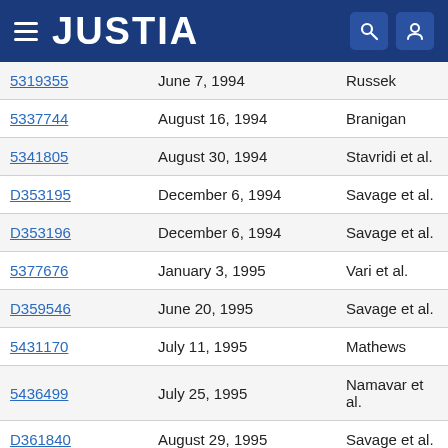JUSTIA
|  |  |  |
| --- | --- | --- |
| 5319355 | June 7, 1994 | Russek |
| 5337744 | August 16, 1994 | Branigan |
| 5341805 | August 30, 1994 | Stavridi et al. |
| D353195 | December 6, 1994 | Savage et al. |
| D353196 | December 6, 1994 | Savage et al. |
| 5377676 | January 3, 1995 | Vari et al. |
| D359546 | June 20, 1995 | Savage et al. |
| 5431170 | July 11, 1995 | Mathews |
| 5436499 | July 25, 1995 | Namavar et al. |
| D361840 | August 29, 1995 | Savage et al. |
| D362063 | September 5, 1995 | Savage et al. |
| 5452717 | September 26, | Branigan et al. |